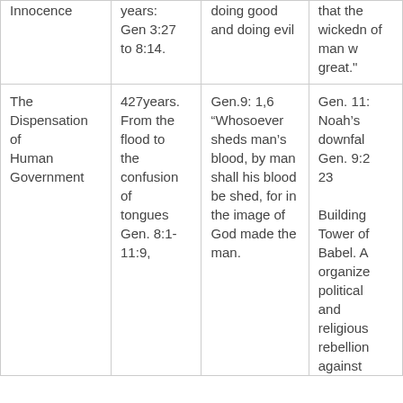| Innocence | years:
Gen 3:27
to 8:14. | doing good and doing evil | that the wickedness of man was great." |
| The Dispensation of Human Government | 427years.
From the flood to the confusion of tongues Gen. 8:1-11:9, | Gen.9: 1,6
"Whosoever sheds man’s blood, by man shall his blood be shed, for in the image of God made the man. | Gen. 11:
Noah’s downfall. Gen. 9:20-23

Building Tower of Babel. A organized political and religious rebellion against |